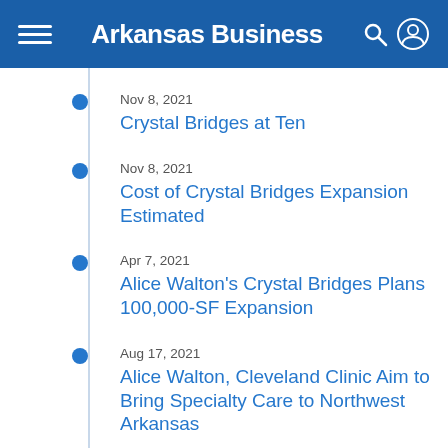Arkansas Business
Nov 8, 2021
Crystal Bridges at Ten
Nov 8, 2021
Cost of Crystal Bridges Expansion Estimated
Apr 7, 2021
Alice Walton's Crystal Bridges Plans 100,000-SF Expansion
Aug 17, 2021
Alice Walton, Cleveland Clinic Aim to Bring Specialty Care to Northwest Arkansas
Mar 1, 2021